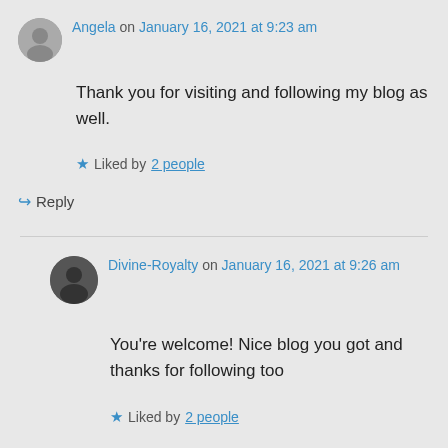Angela on January 16, 2021 at 9:23 am
Thank you for visiting and following my blog as well.
Liked by 2 people
Reply
Divine-Royalty on January 16, 2021 at 9:26 am
You're welcome! Nice blog you got and thanks for following too
Liked by 2 people